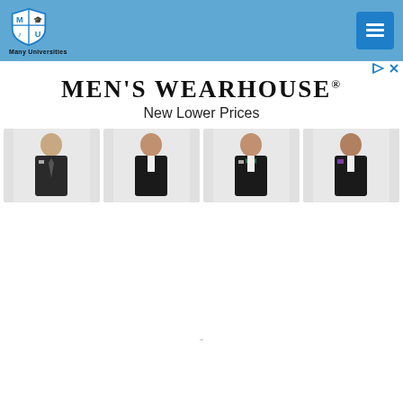Many Universities
[Figure (screenshot): Men's Wearhouse advertisement banner showing brand name, 'New Lower Prices' tagline, and four men in formal suits/tuxedos]